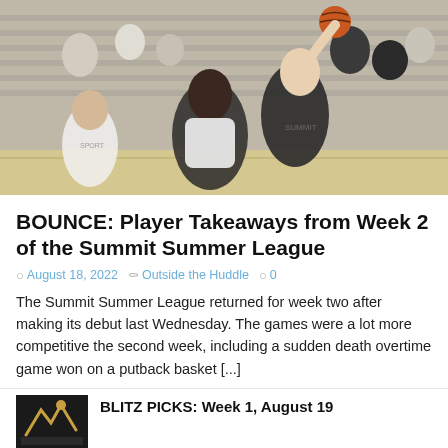[Figure (photo): Basketball game action photo showing players competing during a summer league game, with bleachers and spectators in background]
BOUNCE: Player Takeaways from Week 2 of the Summit Summer League
August 18, 2022  Outside the Huddle  0
The Summit Summer League returned for week two after making its debut last Wednesday. The games were a lot more competitive the second week, including a sudden death overtime game won on a putback basket [...]
BLITZ PICKS: Week 1, August 19